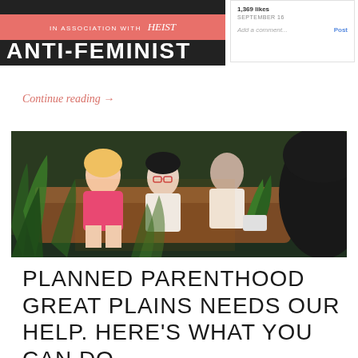[Figure (screenshot): Top portion of a webpage showing a banner with 'IN ASSOCIATION WITH heist' text over a dark image with 'ANTI-FEMINIST' text, and a comments section on the right]
Continue reading →
[Figure (photo): Photo of three people sitting on a couch surrounded by indoor plants. A blonde woman in a pink shirt on the left, a person with glasses and a hat in the middle, and a man on the right. The back of a person in a dark hat is visible in the foreground.]
PLANNED PARENTHOOD GREAT PLAINS NEEDS OUR HELP. HERE'S WHAT YOU CAN DO.